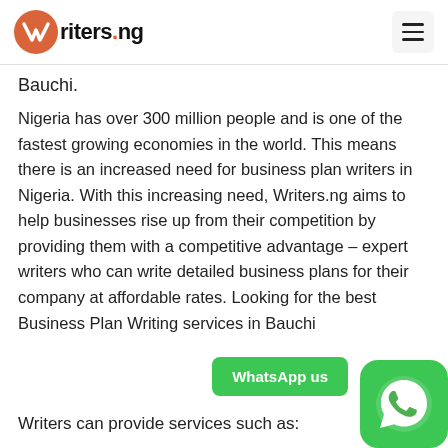Writers.ng
Bauchi.
Nigeria has over 300 million people and is one of the fastest growing economies in the world. This means there is an increased need for business plan writers in Nigeria. With this increasing need, Writers.ng aims to help businesses rise up from their competition by providing them with a competitive advantage – expert writers who can write detailed business plans for their company at affordable rates. Looking for the best Business Plan Writing services in Bauchi
Writers can provide services such as: